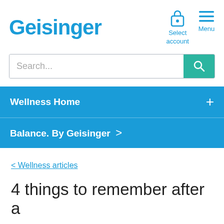Geisinger
[Figure (screenshot): Search bar with teal search button]
Wellness Home +
Balance. By Geisinger >
< Wellness articles
4 things to remember after a